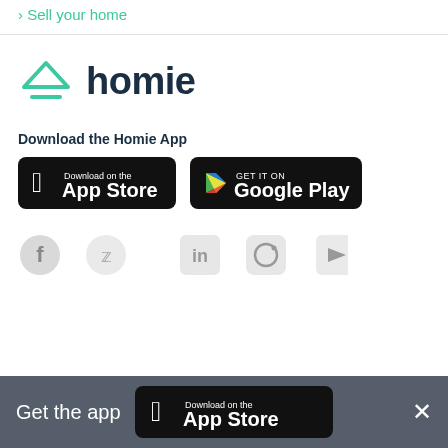Sell your home
[Figure (logo): Homie logo — teal triangle/upload icon followed by the word 'homie' in dark navy bold text]
Download the Homie App
[Figure (screenshot): App Store download badge — black rounded rectangle with Apple logo and text 'Download on the App Store']
[Figure (screenshot): Google Play badge — black rounded rectangle with Google Play triangle logo and text 'GET IT ON Google Play']
[Figure (infographic): Row of 5 social media icons in grey: Facebook, Twitter, LinkedIn, Instagram, YouTube]
[Figure (screenshot): Bottom banner: grey bar with 'Get the app' text and App Store download badge and X close button]